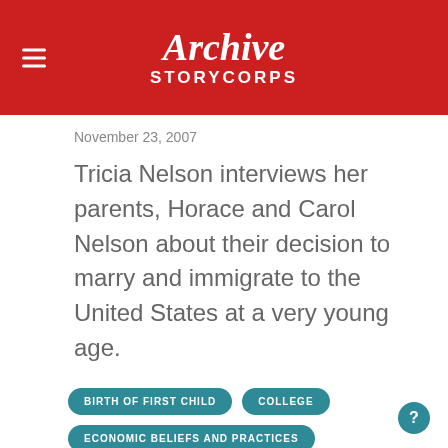Archive StoryCORPS
November 23, 2007
Tricia Nelson interviews her parents, Horace and Carol Nelson about their decision to marry and immigrate to the United States at a very young age.
BIRTH OF FIRST CHILD
COLLEGE
ECONOMIC BELIEFS AND PRACTICES
FAMILY EXPRESSIONS
FAMILY HEROES
FAMILY IN-JOKES
FAMILY MEMBERS IN HISTORY
FAMILY NAMING AND NICKNAMES